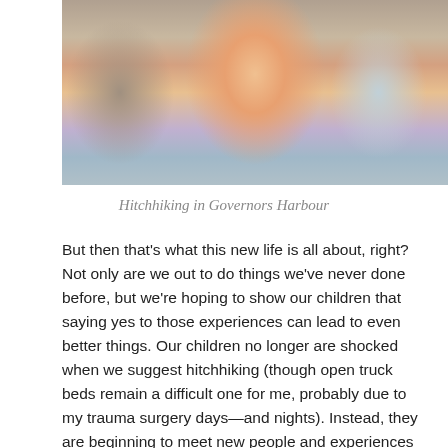[Figure (photo): A selfie-style photo of three people (two adults and a child in the middle wearing pink sunglasses and a pink top) outdoors, appearing happy and smiling.]
Hitchhiking in Governors Harbour
But then that’s what this new life is all about, right?  Not only are we out to do things we’ve never done before, but we’re hoping to show our children that saying yes to those experiences can lead to even better things.  Our children no longer are shocked when we suggest hitchhiking (though open truck beds remain a difficult one for me, probably due to my trauma surgery days—and nights).  Instead, they are beginning to meet new people and experiences with smiles and openness.
Governors Harbour is the capital of Eleuthera.  Images of